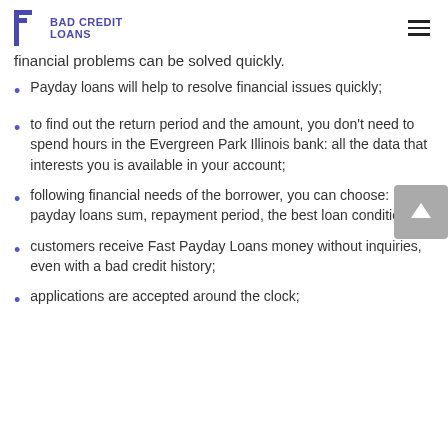BAD CREDIT LOANS
financial problems can be solved quickly.
Payday loans will help to resolve financial issues quickly;
to find out the return period and the amount, you don't need to spend hours in the Evergreen Park Illinois bank: all the data that interests you is available in your account;
following financial needs of the borrower, you can choose: payday loans sum, repayment period, the best loan conditions;
customers receive Fast Payday Loans money without inquiries, even with a bad credit history;
applications are accepted around the clock;